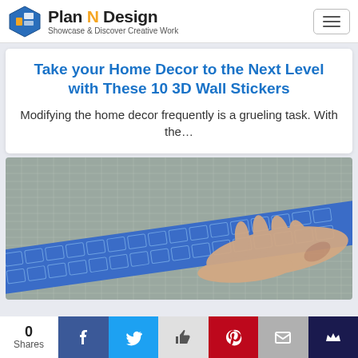Plan N Design — Showcase & Discover Creative Work
Take your Home Decor to the Next Level with These 10 3D Wall Stickers
Modifying the home decor frequently is a grueling task. With the...
[Figure (photo): A hand peeling or placing blue patterned adhesive wall sticker on a cutting mat grid surface]
0 Shares — Social sharing buttons: Facebook, Twitter, Like, Pinterest, Email, Crown